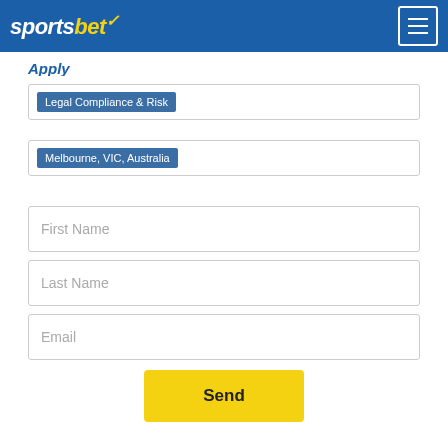[Figure (logo): Sportsbet logo with white italic text 'sports' and yellow 'bet' with green checkmark, on blue header bar with hamburger menu button]
Legal Compliance & Risk
Melbourne, VIC, Australia
First Name
Last Name
Email
Send